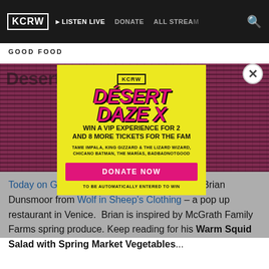KCRW | LISTEN LIVE | DONATE | ALL STREAMS | Search
GOOD FOOD
[Figure (screenshot): Pink/dark textured background image for article]
[Figure (infographic): KCRW Desert Daze X popup modal with yellow background. Text: KCRW logo. DESERT DAZE X. WIN A VIP EXPERIENCE FOR 2 AND 8 MORE TICKETS FOR THE FAM. TAME IMPALA, KING GIZZARD & THE LIZARD WIZARD, CHICANO BATMAN, THE MARIAS, BADBADNOTGOOD. DONATE NOW button. TO BE AUTOMATICALLY ENTERED TO WIN.]
Today on Good Food, Laura Avery interviews Brian Dunsmoor from Wolf in Sheep's Clothing – a pop up restaurant in Venice. Brian is inspired by McGrath Family Farms spring produce. Keep reading for his Warm Squid Salad with Spring Market Vegetables...